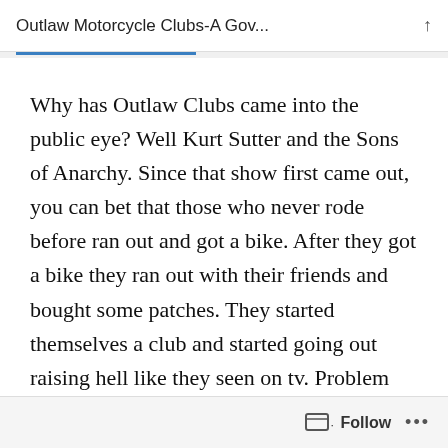Outlaw Motorcycle Clubs-A Gov...
Why has Outlaw Clubs came into the public eye? Well Kurt Sutter and the Sons of Anarchy. Since that show first came out, you can bet that those who never rode before ran out and got a bike. After they got a bike they ran out with their friends and bought some patches. They started themselves a club and started going out raising hell like they seen on tv. Problem with that is the club scene was never anywhere near what that dam show tried to project. It was a
Follow ...